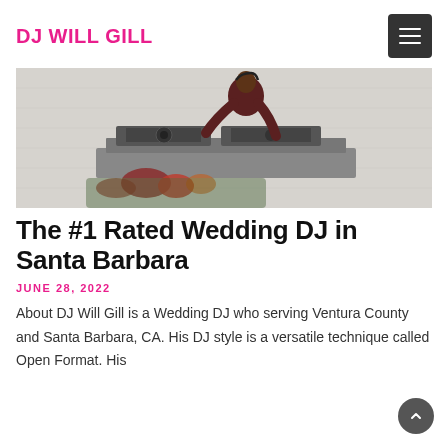DJ WILL GILL
[Figure (photo): A DJ in a dark red/maroon blazer standing behind DJ equipment and turntables, with floral decorations visible at the bottom and a white brick wall in the background.]
The #1 Rated Wedding DJ in Santa Barbara
JUNE 28, 2022
About DJ Will Gill is a Wedding DJ who serving Ventura County and Santa Barbara, CA. His DJ style is a versatile technique called Open Format. His